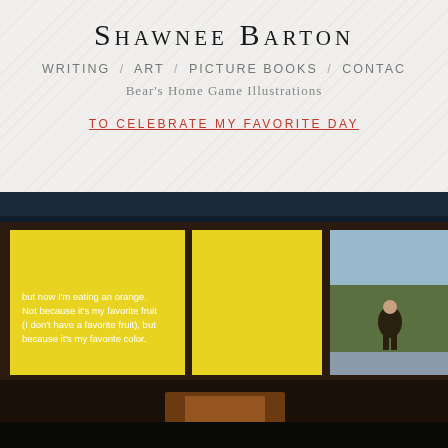Shawnee Barton
WRITING  ART  PICTURE BOOKS  CONTACT
Bear's Home Game Illustrations
TO CELEBRATE MY FAVORITE DAY
[Figure (photo): A building with large windows. The left panels show a yellow background with white text reading: 'but now I'm eating an orange. Not because it's my favorite fruit (I don't have a favorite fruit), but because it's my favorite color.' The right panel shows a person standing outdoors near a hillside and stream.]